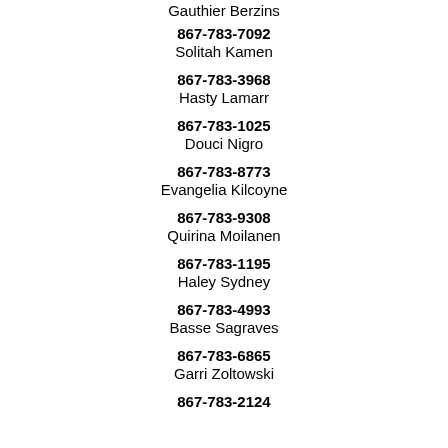Gauthier Berzins
867-783-7092
Solitah Kamen
867-783-3968
Hasty Lamarr
867-783-1025
Douci Nigro
867-783-8773
Evangelia Kilcoyne
867-783-9308
Quirina Moilanen
867-783-1195
Haley Sydney
867-783-4993
Basse Sagraves
867-783-6865
Garri Zoltowski
867-783-2124